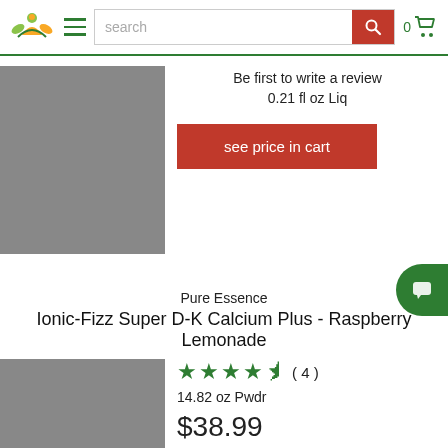[Figure (screenshot): E-commerce website header with logo, hamburger menu, search bar with orange search button, and cart icon showing 0 items]
Be first to write a review
0.21 fl oz Liq
see price in cart
[Figure (photo): Gray placeholder product image for first product]
Pure Essence
Ionic-Fizz Super D-K Calcium Plus - Raspberry Lemonade
★★★★½ ( 4 )
14.82 oz Pwdr
$38.99
[Figure (photo): Gray placeholder product image for second product]
add to cart button (partial)